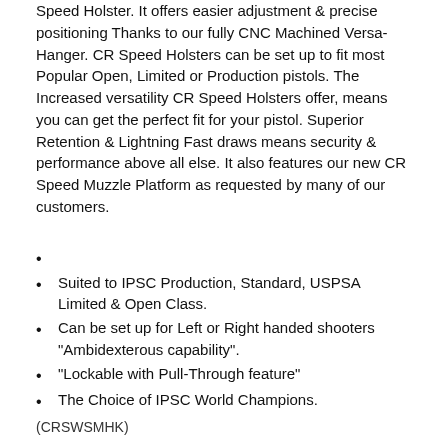Speed Holster. It offers easier adjustment & precise positioning Thanks to our fully CNC Machined Versa-Hanger. CR Speed Holsters can be set up to fit most Popular Open, Limited or Production pistols. The Increased versatility CR Speed Holsters offer, means you can get the perfect fit for your pistol. Superior Retention & Lightning Fast draws means security & performance above all else. It also features our new CR Speed Muzzle Platform as requested by many of our customers.
Suited to IPSC Production, Standard, USPSA Limited & Open Class.
Can be set up for Left or Right handed shooters "Ambidexterous capability".
"Lockable with Pull-Through feature"
The Choice of IPSC World Champions.
(CRSWSMHK)
More From This Category